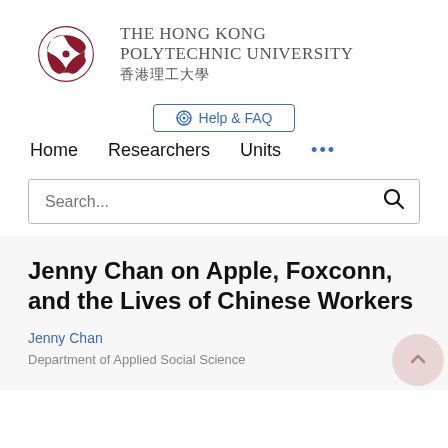[Figure (logo): The Hong Kong Polytechnic University logo with red knot emblem and English/Chinese university name]
Help & FAQ
Home   Researchers   Units   ...
Search...
Jenny Chan on Apple, Foxconn, and the Lives of Chinese Workers
Jenny Chan
Department of Applied Social Science